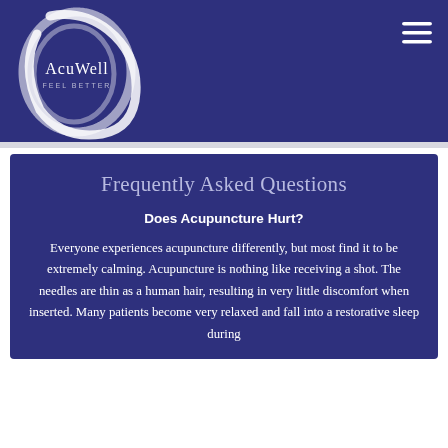[Figure (logo): AcuWell Feel Better logo — white circular brushstroke design with text 'AcuWell' and 'FEEL BETTER' below it, on dark blue/indigo background]
Frequently Asked Questions
Does Acupuncture Hurt?
Everyone experiences acupuncture differently, but most find it to be extremely calming. Acupuncture is nothing like receiving a shot. The needles are thin as a human hair, resulting in very little discomfort when inserted. Many patients become very relaxed and fall into a restorative sleep during